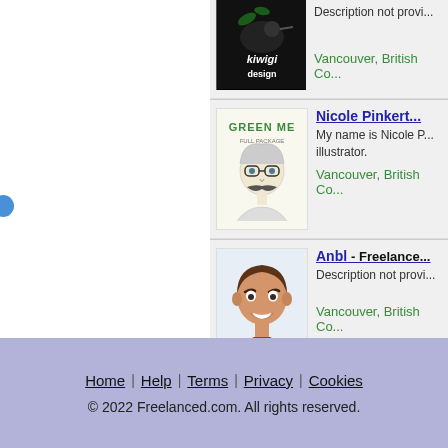[Figure (photo): Kiwigi design logo - black background with illustrated bird/kiwi and text 'kiwigi design']
Description not provi...
Vancouver, British Co...
[Figure (illustration): Green Me illustration - cartoon face with glasses and mustache, text 'GREEN ME' at top]
Nicole Pinkert...
My name is Nicole P... illustrator.
Vancouver, British Co...
[Figure (illustration): Anbl profile avatar - illustrated smiling man with short brown hair wearing red shirt]
Anbl - Freelance...
Description not provi...
Vancouver, British Co...
Home | Help | Terms | Privacy | Cookies
© 2022 Freelanced.com.  All rights reserved.